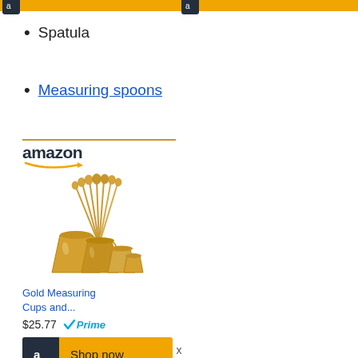[Figure (other): Two Amazon product widget banner thumbnails at top of page, gold/yellow background]
Spatula
Measuring spoons
[Figure (other): Amazon product widget showing gold measuring cups and spoons set. Price $25.77, Amazon Prime eligible, with Shop now button. Product title: Gold Measuring Cups and...]
x